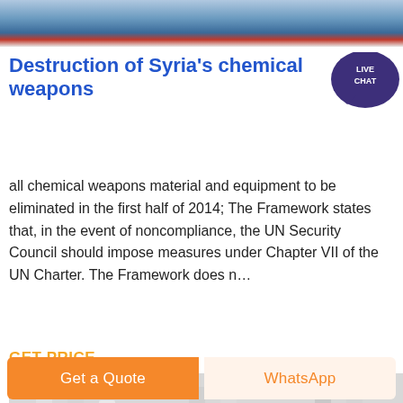[Figure (photo): Top image showing industrial/military equipment with blue and red colors]
Destruction of Syria's chemical weapons
[Figure (infographic): Live chat speech bubble icon with text LIVE CHAT]
all chemical weapons material and equipment to be eliminated in the first half of 2014; The Framework states that, in the event of noncompliance, the UN Security Council should impose measures under Chapter VII of the UN Charter. The Framework does n...
GET PRICE
[Figure (photo): Industrial factory/warehouse interior with heavy machinery and equipment]
Get a Quote
WhatsApp